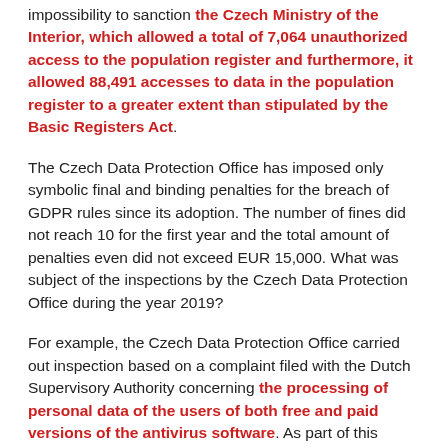impossibility to sanction the Czech Ministry of the Interior, which allowed a total of 7,064 unauthorized access to the population register and furthermore, it allowed 88,491 accesses to data in the population register to a greater extent than stipulated by the Basic Registers Act.
The Czech Data Protection Office has imposed only symbolic final and binding penalties for the breach of GDPR rules since its adoption. The number of fines did not reach 10 for the first year and the total amount of penalties even did not exceed EUR 15,000. What was subject of the inspections by the Czech Data Protection Office during the year 2019?
For example, the Czech Data Protection Office carried out inspection based on a complaint filed with the Dutch Supervisory Authority concerning the processing of personal data of the users of both free and paid versions of the antivirus software. As part of this inspection, the Czech Data Protection Office concluded, that the inspected subject is in the position of the antivirus software user's personal data administrator, because it has information that might, overall, lead to the identification of the specific user, based on which